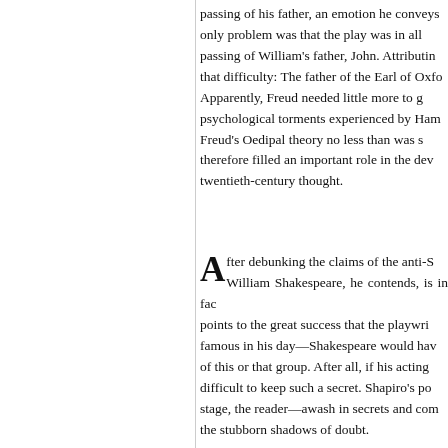passing of his father, an emotion he conveys only problem was that the play was in all passing of William's father, John. Attributin that difficulty: The father of the Earl of Oxfo Apparently, Freud needed little more to g psychological torments experienced by Ham Freud's Oedipal theory no less than was s therefore filled an important role in the dev twentieth-century thought.
After debunking the claims of the anti-S William Shakespeare, he contends, is in fac points to the great success that the playwri famous in his day—Shakespeare would hav of this or that group. After all, if his acting difficult to keep such a secret. Shapiro's po stage, the reader—awash in secrets and com the stubborn shadows of doubt.